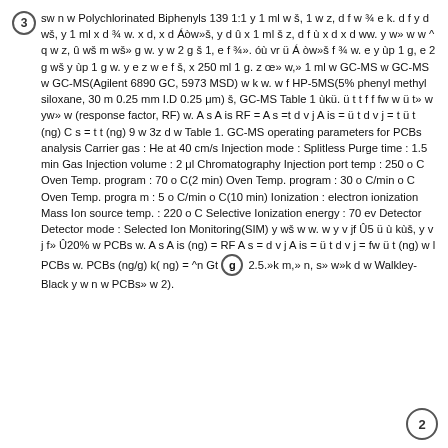3 sw n w Polychlorinated Biphenyls 139 1:1 y 1 ml w š, 1 w z, d f w ¾ e k. d f y d wš, y 1 ml x d ¾ w. x d, x d Áòw»š, y d û x 1 ml š z, d f ù x d x d ww. y w» w w ^ q w z, û wš m wš» g w. y w 2 g š 1, e f ¾». óù vr ü Á òw»š f ¾ w. e y ùp 1 g, e 2 g wš y ùp 1 g w. y e z w e f š, x 250 ml 1 g. z œ» w,» 1 ml w GC-MS w GC-MS w GC-MS(Agilent 6890 GC, 5973 MSD) w k w. w f HP-5MS(5% phenyl methyl siloxane, 30 m 0.25 mm I.D 0.25 μm) š, GC-MS Table 1 ùkü. ü t t f f fw w ü t» w yw» w (response factor, RF) w. A s A is RF = A s =t d v j A is = ü t d v j = t ü t (ng) C s = t t (ng) 9 w 3z d w Table 1. GC-MS operating parameters for PCBs analysis Carrier gas : He at 40 cm/s Injection mode : Splitless Purge time : 1.5 min Gas Injection volume : 2 μl Chromatography Injection port temp : 250 o C Oven Temp. program : 70 o C(2 min) Oven Temp. program : 30 o C/min o C Oven Temp. program : 5 o C/min o C(10 min) Ionization : electron ionization Mass Ion source temp. : 220 o C Selective Ionization energy : 70 ev Detector Detector mode : Selected Ion Monitoring(SIM) y wš w w. w y v jf Û5 ü ù kùš, y v j f» Û20% w PCBs w. A s A is (ng) = RF A s = d v j A is = ü t d v j = fw ü t (ng) w l PCBs w. PCBs (ng/g) k( ng) = ^n Gt g, 2.5.»k m,» n, s» w»k d w Walkley-Black y w n w PCBs» w 2).
2